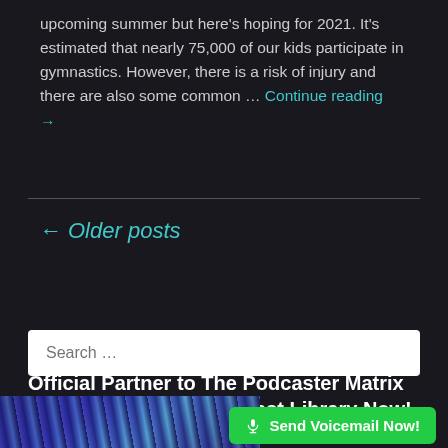upcoming summer but here's hoping for 2021. It's estimated that nearly 75,000 of our kids participate in gymnastics. However, there is a risk of injury and there are also some common … Continue reading →
← Older posts
Search …
Official Partner to The Podcaster Matrix – Host Your Entire Podcast Library Now!
[Figure (photo): Dark blue abstract streaked photo strip at bottom left]
🎙 Send Voicemail Now!